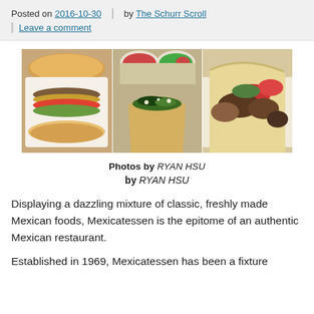Posted on 2016-10-30 | by The Schurr Scroll | Leave a comment
[Figure (photo): Three food photos side by side: a torta/sandwich, tacos with salsa cups, and a burrito filled with meat and vegetables]
Photos by RYAN HSU
by RYAN HSU
Displaying a dazzling mixture of classic, freshly made Mexican foods, Mexicatessen is the epitome of an authentic Mexican restaurant.
Established in 1969, Mexicatessen has been a fixture